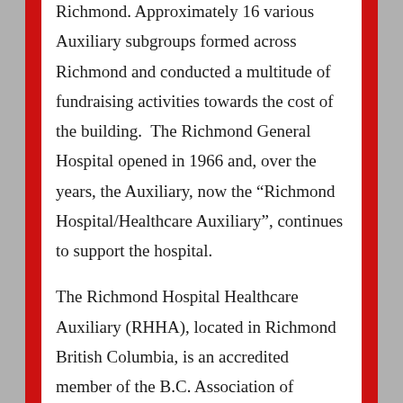Richmond. Approximately 16 various Auxiliary subgroups formed across Richmond and conducted a multitude of fundraising activities towards the cost of the building. The Richmond General Hospital opened in 1966 and, over the years, the Auxiliary, now the “Richmond Hospital/Healthcare Auxiliary”, continues to support the hospital.
The Richmond Hospital Healthcare Auxiliary (RHHA), located in Richmond British Columbia, is an accredited member of the B.C. Association of